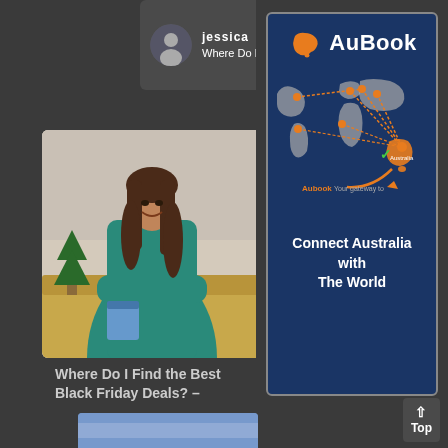[Figure (screenshot): User avatar with person silhouette in dark card]
jessica
Where Do I Find t...
[Figure (photo): Woman in teal dress smiling, sitting on gold/cream sofa with Christmas tree in background]
Where Do I Find the Best Black Friday Deals? –
[Figure (infographic): AuBook advertisement with navy background, Australia map graphic, world map with orange connection lines, text: Connect Australia with The World]
Top